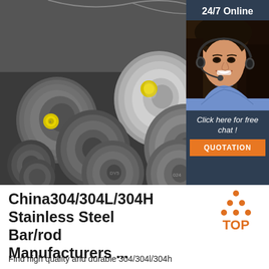[Figure (photo): Photo of stainless steel round bars/rods stacked together, with yellow end caps/labels visible on the ends of the bars. The bars are metallic grey in color.]
[Figure (illustration): Customer service agent sidebar with '24/7 Online' header text, photo of a smiling woman with headset, 'Click here for free chat!' text, and orange QUOTATION button. Dark navy blue background.]
China304/304L/304H Stainless Steel Bar/rod Manufacturers ...
[Figure (logo): TOP logo with orange triangle/arrow design made of dots above the word TOP in orange text]
Find high quality and durable 304/304l/304h